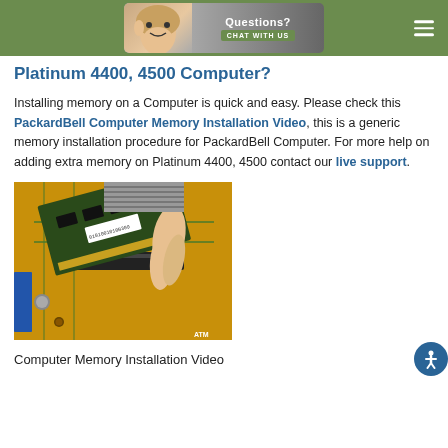Questions? CHAT WITH US
Platinum 4400, 4500 Computer?
Installing memory on a Computer is quick and easy. Please check this PackardBell Computer Memory Installation Video, this is a generic memory installation procedure for PackardBell Computer. For more help on adding extra memory on Platinum 4400, 4500 contact our live support.
[Figure (photo): Photo of a RAM memory module being installed into a motherboard slot on a yellow PCB]
Computer Memory Installation Video